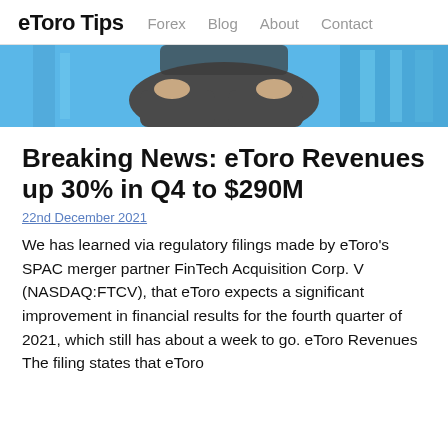eToro Tips   Forex   Blog   About   Contact
[Figure (photo): Cropped photo of a person seated, showing lower body with blue background/panels]
Breaking News: eToro Revenues up 30% in Q4 to $290M
22nd December 2021
We has learned via regulatory filings made by eToro's SPAC merger partner FinTech Acquisition Corp. V (NASDAQ:FTCV), that eToro expects a significant improvement in financial results for the fourth quarter of 2021, which still has about a week to go. eToro Revenues The filing states that eToro